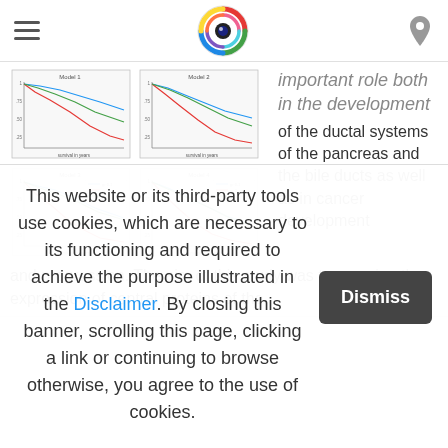Navigation bar with hamburger menu, logo, and location icon
[Figure (continuous-plot): Four Kaplan-Meier survival curve charts arranged in a 2x2 grid, showing survival in years on x-axis and survival probability on y-axis, with multiple colored lines per chart]
important role both in the development of the ductal systems of the pancreas and the bile ducts as well as in cancer development and progression. The aim of this study was to examine the expression of central proteins of the
This website or its third-party tools use cookies, which are necessary to its functioning and required to achieve the purpose illustrated in the Disclaimer. By closing this banner, scrolling this page, clicking a link or continuing to browse otherwise, you agree to the use of cookies.
Dismiss